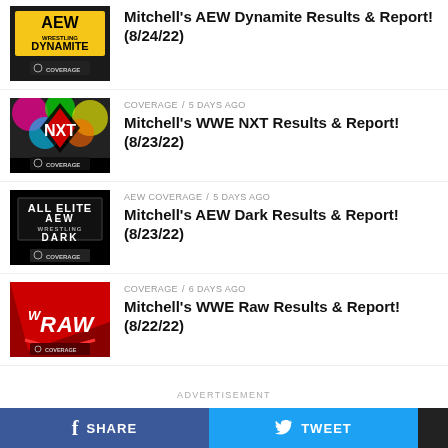Mitchell's AEW Dynamite Results & Report! (8/24/22)
COVERAGE / 5 days ago
Mitchell's WWE NXT Results & Report! (8/23/22)
AEW COVERAGE / 5 days ago
Mitchell's AEW Dark Results & Report! (8/23/22)
COVERAGE / 6 days ago
Mitchell's WWE Raw Results & Report! (8/22/22)
ADVERTISEMENT
SHARE   TWEET